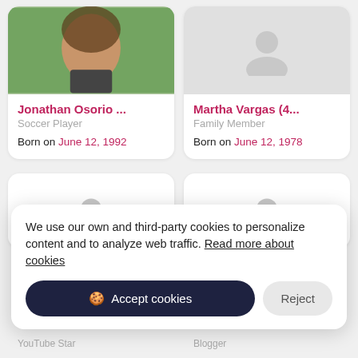[Figure (photo): Profile card for Jonathan Osorio showing a photo of a young man smiling, with name, role Soccer Player, and birth date]
Jonathan Osorio ...
Soccer Player
Born on June 12, 1992
[Figure (photo): Profile card for Martha Vargas showing placeholder silhouette, with name, role Family Member, and birth date]
Martha Vargas (4...
Family Member
Born on June 12, 1978
[Figure (screenshot): Two partially visible profile cards at the bottom of the page, cut off]
We use our own and third-party cookies to personalize content and to analyze web traffic. Read more about cookies
Accept cookies
Reject